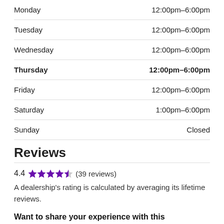| Day | Hours |
| --- | --- |
| Monday | 12:00pm–6:00pm |
| Tuesday | 12:00pm–6:00pm |
| Wednesday | 12:00pm–6:00pm |
| Thursday | 12:00pm–6:00pm |
| Friday | 12:00pm–6:00pm |
| Saturday | 1:00pm–6:00pm |
| Sunday | Closed |
Reviews
4.4 ★★★★½ (39 reviews)
A dealership's rating is calculated by averaging its lifetime reviews.
Want to share your experience with this